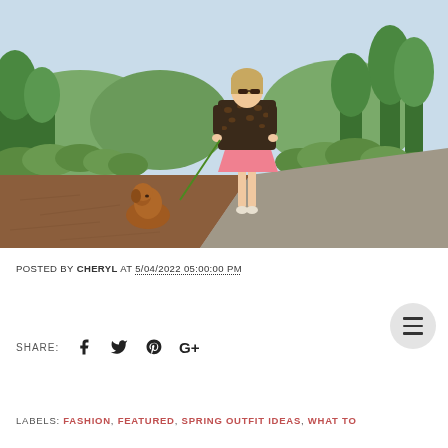[Figure (photo): Woman in pink skirt and leopard print jacket walking a dog on a leash in a sunny outdoor park/winery setting with green trees, hills, and gravel path. A brown dog sits on wood chip ground in the foreground.]
POSTED BY CHERYL AT 5/04/2022 05:00:00 PM
SHARE:
LABELS: FASHION, FEATURED, SPRING OUTFIT IDEAS, WHAT TO...